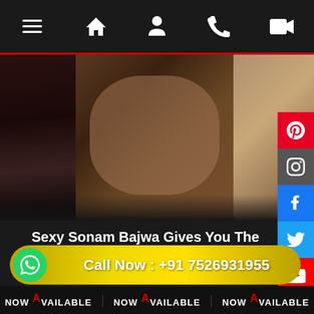Navigation bar with menu, home, profile, phone, and video icons
[Figure (photo): Photo strip showing four images: a woman in black dress, a couple intimate scene, a blonde woman posing, and a woman in pink outfit]
Sexy Sonam Bajwa Gives You The Perfect Satisfaction 100%
Chandigarh Escorts
Call Now : +91 7526931955
Now Available  Now Available  Now Available